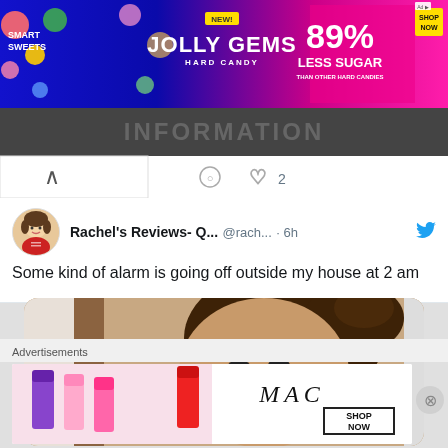[Figure (screenshot): SmartSweets Jolly Gems advertisement banner with colorful candy graphics, '89% Less Sugar' text, and 'SHOP NOW' yellow button on blue/pink background]
[Figure (screenshot): Partial Twitter feed showing a tweet with engagement icons (comment and 2 likes) and a partial image header]
Rachel's Reviews- Q... @rach... · 6h Some kind of alarm is going off outside my house at 2 am
[Figure (photo): Video thumbnail of a woman with dark brown hair in a messy bun, smiling, with a blue play button overlay]
Advertisements
[Figure (screenshot): MAC cosmetics advertisement showing colorful lipsticks and 'SHOP NOW' button with MAC logo]